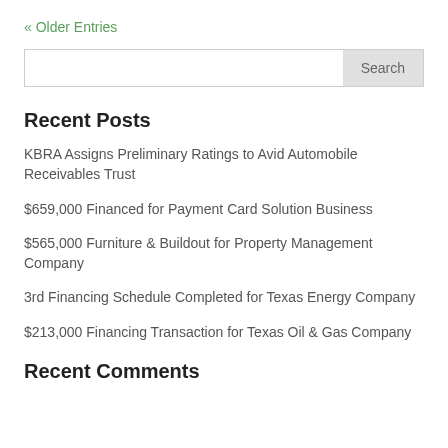« Older Entries
Recent Posts
KBRA Assigns Preliminary Ratings to Avid Automobile Receivables Trust
$659,000 Financed for Payment Card Solution Business
$565,000 Furniture & Buildout for Property Management Company
3rd Financing Schedule Completed for Texas Energy Company
$213,000 Financing Transaction for Texas Oil & Gas Company
Recent Comments